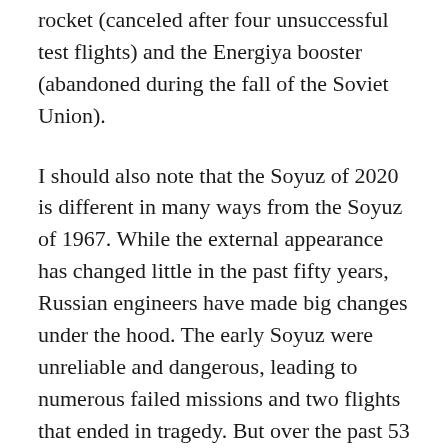rocket (canceled after four unsuccessful test flights) and the Energiya booster (abandoned during the fall of the Soviet Union).
I should also note that the Soyuz of 2020 is different in many ways from the Soyuz of 1967. While the external appearance has changed little in the past fifty years, Russian engineers have made big changes under the hood. The early Soyuz were unreliable and dangerous, leading to numerous failed missions and two flights that ended in tragedy. But over the past 53 years, the Soyuz has been redesigned for greater reliability and safety.
I think it's interesting how the Russians are comfortable with perfecting a proven design, rather than throwing away the old in favor of something new — or like...